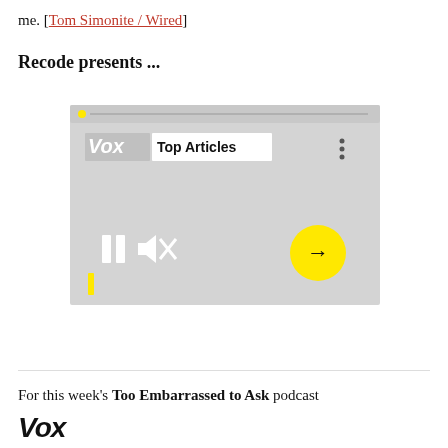me. [Tom Simonite / Wired]
Recode presents ...
[Figure (screenshot): A Vox media player widget showing 'Top Articles' with playback controls (pause and mute buttons), a yellow forward/next arrow button, and a yellow progress indicator. The background is light gray.]
For this week's Too Embarrassed to Ask podcast
Vox